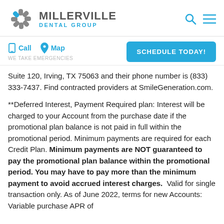[Figure (logo): Millerville Dental Group logo with gray sunburst/flower icon and text 'MILLERVILLE DENTAL GROUP']
Millerville Dental Group — navigation bar with Call, Map, WE TAKE EMERGENCIES, and SCHEDULE TODAY! button
Suite 120, Irving, TX 75063 and their phone number is (833) 333-7437. Find contracted providers at SmileGeneration.com.
**Deferred Interest, Payment Required plan: Interest will be charged to your Account from the purchase date if the promotional plan balance is not paid in full within the promotional period. Minimum payments are required for each Credit Plan. Minimum payments are NOT guaranteed to pay the promotional plan balance within the promotional period. You may have to pay more than the minimum payment to avoid accrued interest charges.  Valid for single transaction only. As of June 2022, terms for new Accounts: Variable purchase APR of